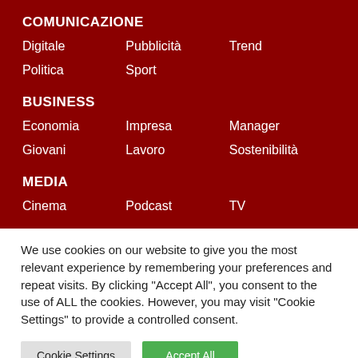COMUNICAZIONE
Digitale
Pubblicità
Trend
Politica
Sport
BUSINESS
Economia
Impresa
Manager
Giovani
Lavoro
Sostenibilità
MEDIA
Cinema
Podcast
TV
We use cookies on our website to give you the most relevant experience by remembering your preferences and repeat visits. By clicking "Accept All", you consent to the use of ALL the cookies. However, you may visit "Cookie Settings" to provide a controlled consent.
Cookie Settings
Accept All